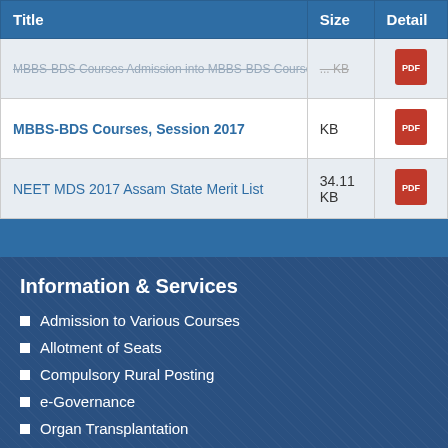| Title | Size | Detail |
| --- | --- | --- |
| MBBS-BDS Courses Admission into MBBS-BDS Courses, Session 2017 | ... KB | PDF |
| NEET MDS 2017 Assam State Merit List | 34.11 KB | PDF |
Information & Services
Admission to Various Courses
Allotment of Seats
Compulsory Rural Posting
e-Governance
Organ Transplantation
Pension